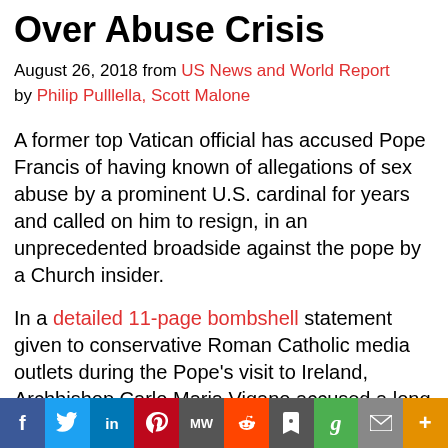Over Abuse Crisis
August 26, 2018 from US News and World Report by Philip Pulllella, Scott Malone
A former top Vatican official has accused Pope Francis of having known of allegations of sex abuse by a prominent U.S. cardinal for years and called on him to resign, in an unprecedented broadside against the pope by a Church insider.
In a detailed 11-page bombshell statement given to conservative Roman Catholic media outlets during the Pope's visit to Ireland, Archbishop Carlo Maria Vigano accused a long list of current and past Vatican and U.S. Church officials of covering up the case of Cardinal Theodore McCarrick, who
f  Twitter  in  Pinterest  MW  Reddit  bookmark  g  mail  More